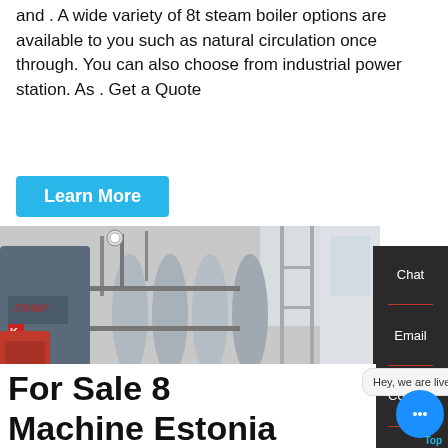and . A wide variety of 8t steam boiler options are available to you such as natural circulation once through. You can also choose from industrial power station. As . Get a Quote
Learn More
[Figure (photo): Industrial steam boilers in a factory setting, showing large cylindrical horizontal steam boilers with pipes and a red burner unit. A brand logo is visible on one boiler. WhatsApp icon and 'Contact us now!' button overlay on the image.]
Chat
Email
Contact
Hey, we are live 24/7. How may I help you?
For Sale 8t steam boiler Machine Estonia